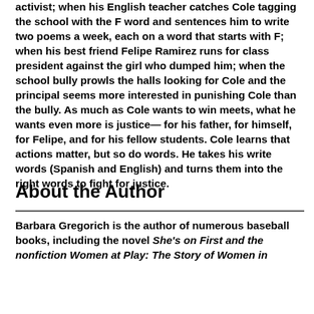activist; when his English teacher catches Cole tagging the school with the F word and sentences him to write two poems a week, each on a word that starts with F; when his best friend Felipe Ramirez runs for class president against the girl who dumped him; when the school bully prowls the halls looking for Cole and the principal seems more interested in punishing Cole than the bully. As much as Cole wants to win meets, what he wants even more is justice— for his father, for himself, for Felipe, and for his fellow students. Cole learns that actions matter, but so do words. He takes his write words (Spanish and English) and turns them into the right words to fight for justice.
About the Author
Barbara Gregorich is the author of numerous baseball books, including the novel She's on First and the nonfiction Women at Play: The Story of Women in